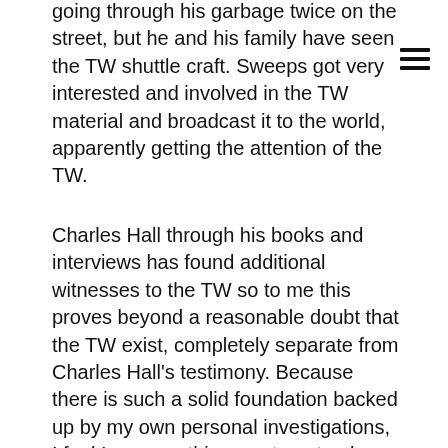going through his garbage twice on the street, but he and his family have seen the TW shuttle craft. Sweeps got very interested and involved in the TW material and broadcast it to the world, apparently getting the attention of the TW.
Charles Hall through his books and interviews has found additional witnesses to the TW so to me this proves beyond a reasonable doubt that the TW exist, completely separate from Charles Hall's testimony. Because there is such a solid foundation backed up by my own personal investigations, I feel I can use this case to not only peer into the lives of the TW, but get a better perspective on other ET races as well.
I found the following quote by Charles especially useful as to the nature of extraterrestrial life on other worlds. Charles asked, "Are there many planets like the Earth out in space? I asked." "Yes," she (The